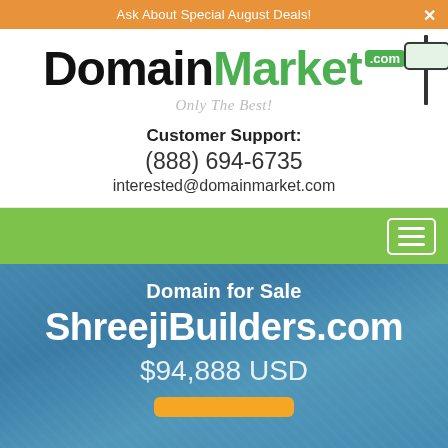Ask About Special August Deals!
[Figure (logo): DomainMarket.com logo with green badge and sign post illustration, tagline: Only The Best!]
Customer Support:
(888) 694-6735
interested@domainmarket.com
[Figure (other): Green navigation bar with hamburger menu icon]
Domain for Sale
ShreejiBuilders.com
$94,888 USD